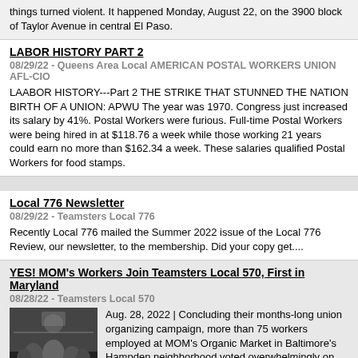things turned violent. It happened Monday, August 22, on the 3900 block of Taylor Avenue in central El Paso.
LABOR HISTORY PART 2
08/29/22 - Queens Area Local AMERICAN POSTAL WORKERS UNION AFL-CIO
LAABOR HISTORY---Part 2 THE STRIKE THAT STUNNED THE NATION BIRTH OF A UNION: APWU The year was 1970. Congress just increased its salary by 41%. Postal Workers were furious. Full-time Postal Workers were being hired in at $118.76 a week while those working 21 years could earn no more than $162.34 a week. These salaries qualified Postal Workers for food stamps.
Local 776 Newsletter
08/29/22 - Teamsters Local 776
Recently Local 776 mailed the Summer 2022 issue of the Local 776 Review, our newsletter, to the membership. Did your copy get....
YES! MOM's Workers Join Teamsters Local 570, First in Maryland
08/28/22 - Teamsters Local 570
Aug. 28, 2022 | Concluding their months-long union organizing campaign, more than 75 workers employed at MOM's Organic Market in Baltimore's Hampden neighborhood voted overwhelmingly on Friday, August 26, for representation by Teamsters Local 570.
[Figure (photo): Group of workers at night rally or outdoor event]
JAMAICA SEPTEMBER 2022 CLERICAL BIDS
08/27/22 - Queens Area Local AMERICAN POSTAL WORKERS UNION AFL-CIO